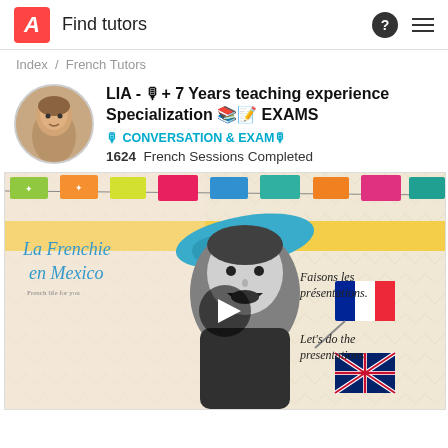Find tutors
Index / French Tutors
LIA - 🎙+ 7 Years teaching experience Specialization 📚📝 EXAMS
🎙 CONVERSATION & EXAM🎙
1624  French Sessions Completed
[Figure (photo): Promotional video thumbnail for 'La Frenchie en Mexico' French tutoring service. Shows a woman with a beret, colorful paper bunting flags, French and British flags, and text 'Faisons les présentations. Let's do the presentations'. Has a play button in the center.]